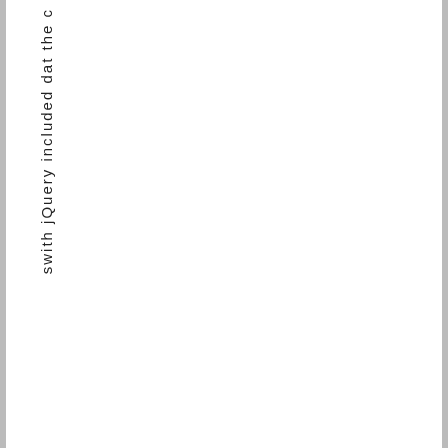swith jQuery included dat the c